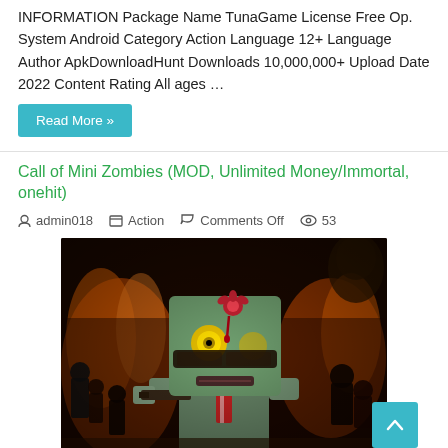INFORMATION Package Name TunaGame License Free Op. System Android Category Action Language 12+ Language Author ApkDownloadHunt Downloads 10,000,000+ Upload Date 2022 Content Rating All ages …
Read More »
Call of Mini Zombies (MOD, Unlimited Money/Immortal, onehit)
admin018   Action   Comments Off   53
[Figure (photo): Call of Mini Zombies game artwork showing a blocky zombie character with glowing yellow eyes, a flower in its head, holding a gun, surrounded by fire and other zombies in the background.]